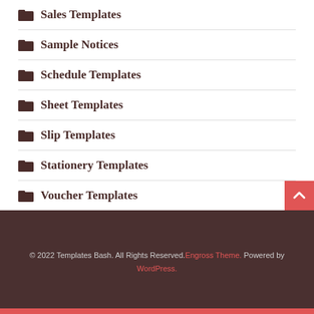Sales Templates
Sample Notices
Schedule Templates
Sheet Templates
Slip Templates
Stationery Templates
Voucher Templates
© 2022 Templates Bash. All Rights Reserved. Engross Theme. Powered by WordPress.